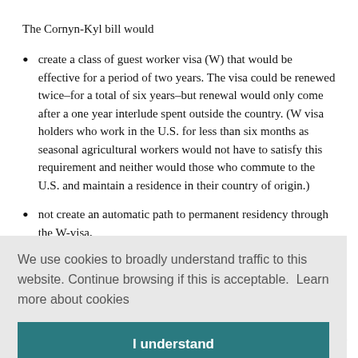The Cornyn-Kyl bill would
create a class of guest worker visa (W) that would be effective for a period of two years. The visa could be renewed twice–for a total of six years–but renewal would only come after a one year interlude spent outside the country. (W visa holders who work in the U.S. for less than six months as seasonal agricultural workers would not have to satisfy this requirement and neither would those who commute to the U.S. and maintain a residence in their country of origin.)
not create an automatic path to permanent residency through the W-visa, [partial — obscured by cookie overlay] ...lent ...grams. ...rs and ...f- petitioning or at any point through the sponsorship of the employer.
[Figure (screenshot): Cookie consent overlay with message: 'We use cookies to broadly understand traffic to this website. Continue browsing if this is acceptable. Learn more about cookies' and an 'I understand' button.]
petitioning or at any point through the sponsorship of the employer.